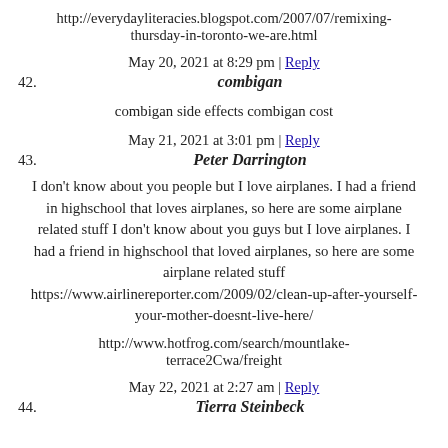http://everydayliteracies.blogspot.com/2007/07/remixing-thursday-in-toronto-we-are.html
May 20, 2021 at 8:29 pm | Reply
42. combigan
combigan side effects combigan cost
May 21, 2021 at 3:01 pm | Reply
43. Peter Darrington
I don't know about you people but I love airplanes. I had a friend in highschool that loves airplanes, so here are some airplane related stuff I don't know about you guys but I love airplanes. I had a friend in highschool that loved airplanes, so here are some airplane related stuff https://www.airlinereporter.com/2009/02/clean-up-after-yourself-your-mother-doesnt-live-here/
http://www.hotfrog.com/search/mountlake-terrace2Cwa/freight
May 22, 2021 at 2:27 am | Reply
44. Tierra Steinbeck